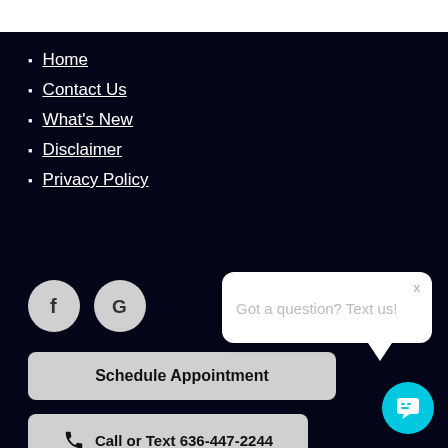Home
Contact Us
What's New
Disclaimer
Privacy Policy
[Figure (illustration): Facebook and Google circular icon buttons]
Schedule Appointment
[Figure (screenshot): Chat popup bubble saying 'Got a question? Text us!' with close X button]
Call or Text 636-447-2244
[Figure (illustration): Cyan chat FAB button at bottom right]